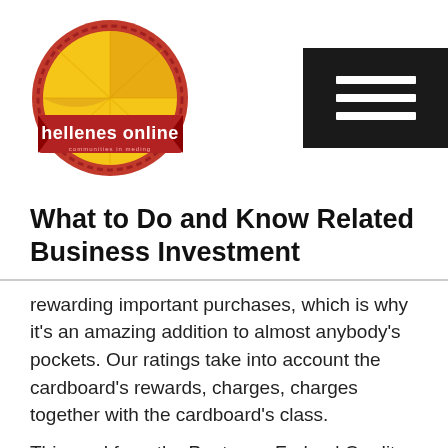[Figure (logo): Hellenes Online circular logo with yellow and red design, red banner reading 'hellenes online']
What to Do and Know Related Business Investment
rewarding important purchases, which is why it's an amazing addition to almost anybody's pockets. Our ratings take into account the cardboard's rewards, charges, charges together with the cardboard's class.
This card from the Pentagon Federal Credit